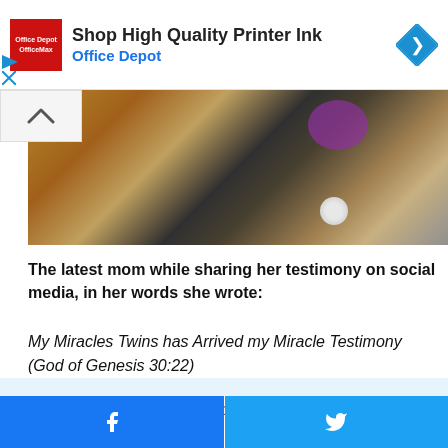[Figure (screenshot): Office Depot / OfficeMax advertisement banner with red square logo, text 'Shop High Quality Printer Ink' and 'Office Depot' in blue, and a blue diamond navigation arrow icon on the right]
[Figure (photo): Close-up photo of a tiled floor with dark table surface, purple flower arrangement, and reflective items]
The latest mom while sharing her testimony on social media, in her words she wrote:
My Miracles Twins has Arrived my Miracle Testimony (God of Genesis 30:22)
After 7years of Marriage, God shut mouths of those asking:
[Figure (screenshot): Social share buttons bar: Facebook (blue) and Twitter (light blue)]